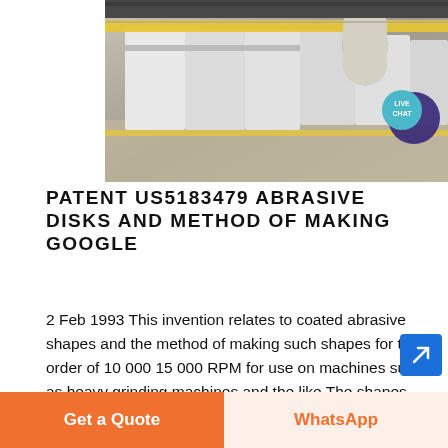[Figure (photo): Industrial machinery — overhead view of manufacturing/grinding machines in a factory setting, showing white-colored machine bodies, yellow structural elements, pipes and conveyors.]
PATENT US5183479 ABRASIVE DISKS AND METHOD OF MAKING GOOGLE
2 Feb 1993 This invention relates to coated abrasive shapes and the method of making such shapes for the order of 10 000 15 000 RPM for use on machines such as heavy grinding machines and the like The shapes with which the invention is concerned are provided with a aperture for mechanical mounting on a phan
Get a Quote
WhatsApp